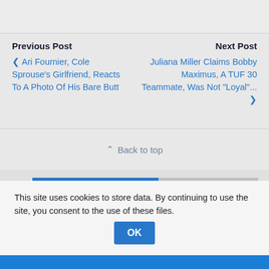Previous Post
‹ Ari Fournier, Cole Sprouse's Girlfriend, Reacts To A Photo Of His Bare Butt
Next Post
Juliana Miller Claims Bobby Maximus, A TUF 30 Teammate, Was Not "Loyal"... ›
⌃ Back to top
This site uses cookies to store data. By continuing to use the site, you consent to the use of these files.